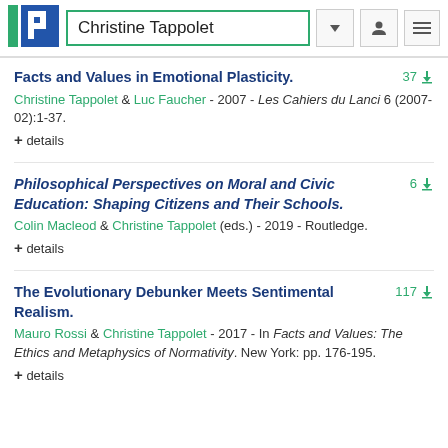Christine Tappolet
Facts and Values in Emotional Plasticity.
Christine Tappolet & Luc Faucher - 2007 - Les Cahiers du Lanci 6 (2007-02):1-37.
+ details
Philosophical Perspectives on Moral and Civic Education: Shaping Citizens and Their Schools.
Colin Macleod & Christine Tappolet (eds.) - 2019 - Routledge.
+ details
The Evolutionary Debunker Meets Sentimental Realism.
Mauro Rossi & Christine Tappolet - 2017 - In Facts and Values: The Ethics and Metaphysics of Normativity. New York: pp. 176-195.
+ details